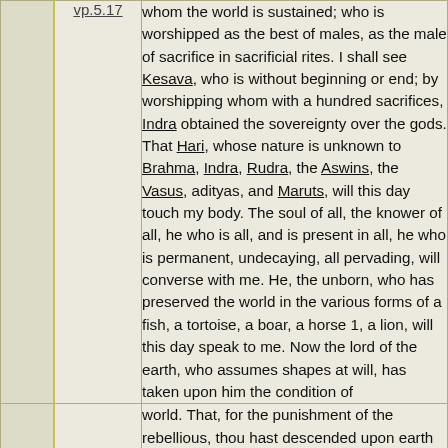whom the world is sustained; who is worshipped as the best of males, as the male of sacrifice in sacrificial rites. I shall see Kesava, who is without beginning or end; by worshipping whom with a hundred sacrifices, Indra obtained the sovereignty over the gods. That Hari, whose nature is unknown to Brahma, Indra, Rudra, the Aswins, the Vasus, adityas, and Maruts, will this day touch my body. The soul of all, the knower of all, he who is all, and is present in all, he who is permanent, undecaying, all pervading, will converse with me. He, the unborn, who has preserved the world in the various forms of a fish, a tortoise, a boar, a horse 1, a lion, will this day speak to me. Now the lord of the earth, who assumes shapes at will, has taken upon him the condition of
world. That, for the punishment of the rebellious, thou hast descended upon earth in my house, having been propitiated by my prayers, sanctifies our race. Thou art the heart of all creatures; thou abidest in all creatures; and all that has been, or will be, emanates from thee, O universal spirit! Thou, Achyuta, who comprehendest all the gods, art